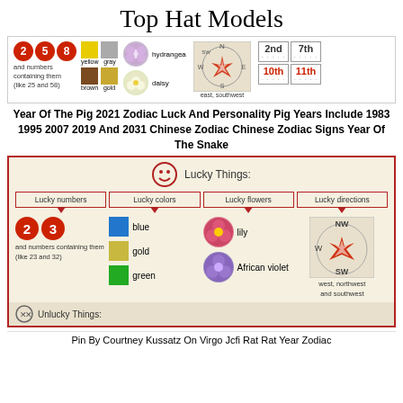Top Hat Models
[Figure (infographic): Chinese zodiac lucky things infographic showing lucky numbers 2,5,8, colors yellow/gray/brown/gold, flowers hydrangea/daisy, compass showing east/southwest, and rank positions 2nd, 7th, 10th, 11th]
Year Of The Pig 2021 Zodiac Luck And Personality Pig Years Include 1983 1995 2007 2019 And 2031 Chinese Zodiac Chinese Zodiac Signs Year Of The Snake
[Figure (infographic): Lucky Things infographic: Lucky numbers 2,3 (and numbers containing them like 23 and 32), Lucky colors blue/gold/green, Lucky flowers lily/African violet, Lucky directions west/northwest and southwest. Bottom bar shows Unlucky Things.]
Pin By Courtney Kussatz On Virgo Jcfi Rat Rat Year Zodiac